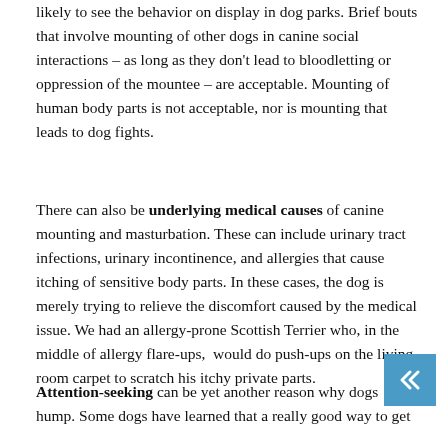likely to see the behavior on display in dog parks. Brief bouts that involve mounting of other dogs in canine social interactions – as long as they don't lead to bloodletting or oppression of the mountee – are acceptable. Mounting of human body parts is not acceptable, nor is mounting that leads to dog fights.
There can also be underlying medical causes of canine mounting and masturbation. These can include urinary tract infections, urinary incontinence, and allergies that cause itching of sensitive body parts. In these cases, the dog is merely trying to relieve the discomfort caused by the medical issue. We had an allergy-prone Scottish Terrier who, in the middle of allergy flare-ups,  would do push-ups on the living room carpet to scratch his itchy private parts.
Attention-seeking can be yet another reason why dogs hump. Some dogs have learned that a really good way to get